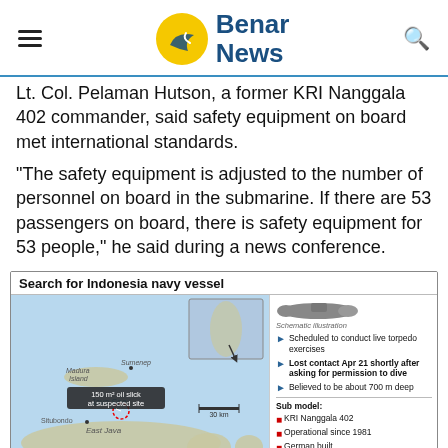Benar News
Lt. Col. Pelaman Hutson, a former KRI Nanggala 402 commander, said safety equipment on board met international standards.
“The safety equipment is adjusted to the number of personnel on board in the submarine. If there are 53 passengers on board, there is safety equipment for 53 people,” he said during a news conference.
[Figure (infographic): Search for Indonesia navy vessel infographic showing a map of the Java Sea near East Java and Bali with a marked location of 150 m² oil slick at suspected site, a 30 km scale bar, and an inset map. Right side shows submarine schematic illustration with bullet points: Scheduled to conduct live torpedo exercises; Lost contact Apr 21 shortly after asking for permission to dive; Believed to be about 700 m deep. Sub model: KRI Nanggala 402, Operational since 1981, German built. On board: [cut off]]